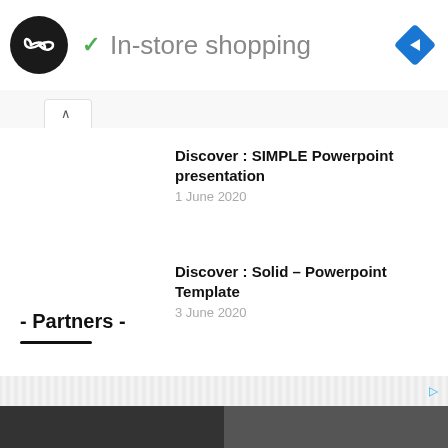[Figure (logo): Black circle with double infinity/loop icon (two interlocked loops) in white]
In-store shopping
[Figure (other): Blue diamond navigation arrow icon pointing right]
[Figure (other): Play triangle icon and X icon in blue on left side]
[Figure (other): Tab with up arrow caret]
Discover : SIMPLE Powerpoint presentation
1 June 2020
Discover : Solid – Powerpoint Template
3 June 2020
- Partners -
[Figure (other): Bottom advertisement bar with diagonal pattern]
[Figure (screenshot): Bottom dark strip showing partial thumbnails]